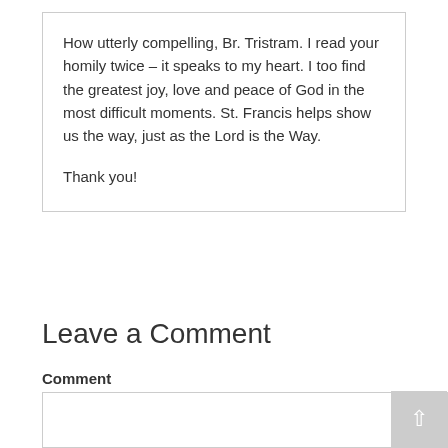How utterly compelling, Br. Tristram. I read your homily twice – it speaks to my heart. I too find the greatest joy, love and peace of God in the most difficult moments. St. Francis helps show us the way, just as the Lord is the Way.

Thank you!
Reply
Leave a Comment
Comment